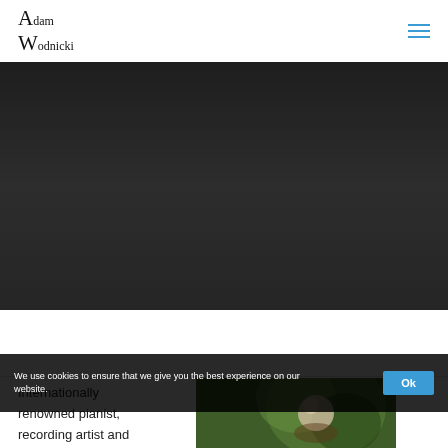Adam Wodnicki
[Figure (photo): Dark hero banner image area, very dark charcoal background, appears to be a dimly lit stage or concert hall photograph]
[Figure (photo): Partial photo of a person (pianist Adam Wodnicki) with bokeh green background, visible at bottom right of page]
Internationally renowned pianist, recording artist and
We use cookies to ensure that we give you the best experience on our website.
Ok